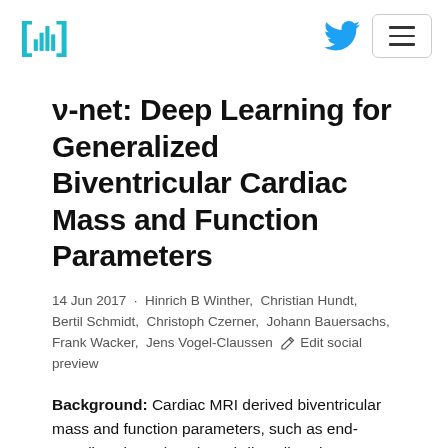[Figure (logo): Papers with Code logo: teal/cyan bracket characters with bar chart symbol]
ν-net: Deep Learning for Generalized Biventricular Cardiac Mass and Function Parameters
14 Jun 2017 · Hinrich B Winther, Christian Hundt, Bertil Schmidt, Christoph Czerner, Johann Bauersachs, Frank Wacker, Jens Vogel-Claussen  Edit social preview
Background: Cardiac MRI derived biventricular mass and function parameters, such as end-systolic volume (ESV), end-diastolic volume (EDV), ejection fraction (EF), stroke volume (SV), and cardiac mass (LM)